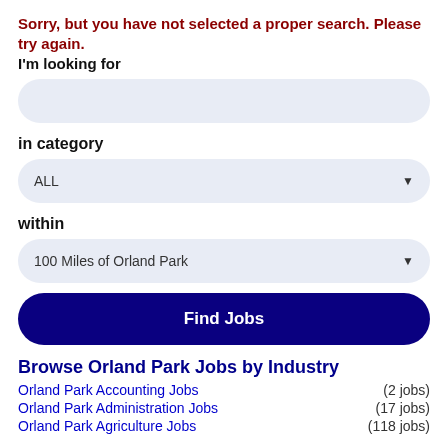Sorry, but you have not selected a proper search. Please try again.
I'm looking for
[Figure (screenshot): Search input field (rounded light blue rectangle)]
in category
[Figure (screenshot): Dropdown selector showing ALL with arrow]
within
[Figure (screenshot): Dropdown selector showing 100 Miles of Orland Park with arrow]
Find Jobs
Browse Orland Park Jobs by Industry
Orland Park Accounting Jobs (2 jobs)
Orland Park Administration Jobs (17 jobs)
Orland Park Agriculture Jobs (118 jobs)